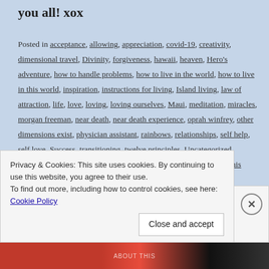you all! xox
Posted in acceptance, allowing, appreciation, covid-19, creativity, dimensional travel, Divinity, forgiveness, hawaii, heaven, Hero's adventure, how to handle problems, how to live in the world, how to live in this world, inspiration, instructions for living, Island living, law of attraction, life, love, loving, loving ourselves, Maui, meditation, miracles, morgan freeman, near death, near death experience, oprah winfrey, other dimensions exist, physician assistant, rainbows, relationships, self help, self love, Success, transitioning, twelve principles, Uncategorized, understanding ourselves, universal love, Wayne Dyer, what I did this weekend, will smith, worthiness | 2
Privacy & Cookies: This site uses cookies. By continuing to use this website, you agree to their use.
To find out more, including how to control cookies, see here: Cookie Policy
Close and accept